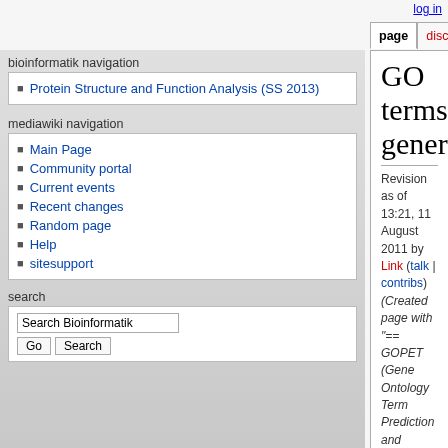log in
page | discussion | view source | history
GO terms general
Revision as of 13:21, 11 August 2011 by Link (talk | contribs) (Created page with "== GOPET (Gene Ontology Term Prediction and Evaluation Tool) == "Authors:" Vinayagam A, König R, Moormann J, Schubert F, Eils R, Glatting KH, Suhai S <br> "Year:" 2004<br> …")
(diff) ← Older revision | Latest revision (diff) | Newer revision → (diff)
Contents
1 GOPET (Gene Ontology Term Prediction and Evaluation Tool)
1.1 Description
1.2 Input
1.3 Output
2 Pfam
2.1 Description
2.2 Input
2.3 Output
3 ProtFun2.2
3.1 Description
bioinformatik navigation
Protein Structure and Function Analysis (SS 2013)
mediawiki navigation
Main Page
Community portal
Current events
Recent changes
Random page
Help
sitesupport
search